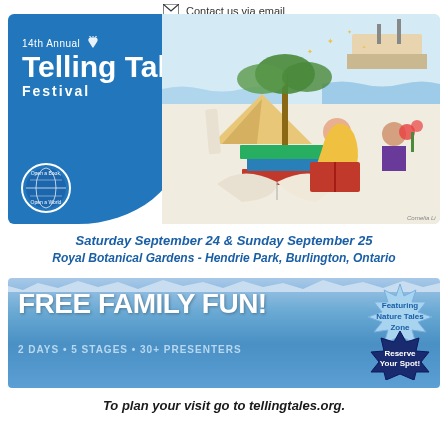Contact us via email
[Figure (illustration): 14th Annual Telling Tales Festival banner with blue curved left panel showing festival name and a colorful illustrated scene of a girl reading a book surrounded by world landmarks]
Saturday September 24 & Sunday September 25
Royal Botanical Gardens - Hendrie Park, Burlington, Ontario
[Figure (infographic): Blue banner reading FREE FAMILY FUN! 2 DAYS • 5 STAGES • 30+ PRESENTERS with Featuring Nature Tales Zone badge and Reserve Your Spot badge]
To plan your visit go to tellingtales.org.